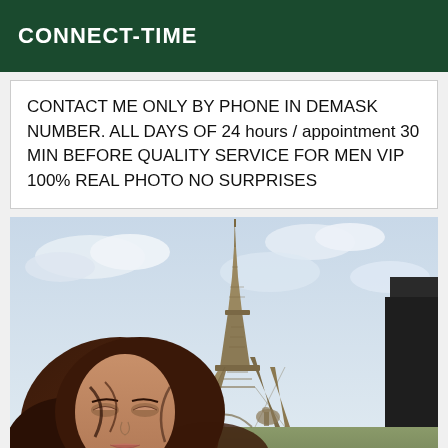CONNECT-TIME
CONTACT ME ONLY BY PHONE IN DEMASK NUMBER. ALL DAYS OF 24 hours / appointment 30 MIN BEFORE QUALITY SERVICE FOR MEN VIP 100% REAL PHOTO NO SURPRISES
[Figure (photo): A woman with dark hair taking a selfie in front of the Eiffel Tower in Paris, with a cloudy sky in the background.]